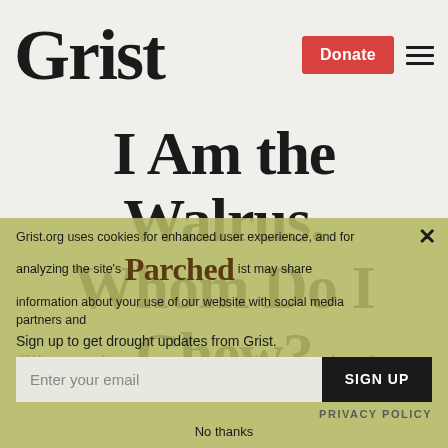Grist
I Am the Walrus. Whom Do I Chew?
Climate change appears to be affecting the
[Figure (screenshot): Cookie consent and Parched newsletter signup overlay with email input and SIGN UP button]
Grist.org uses cookies for enhanced user experience, and for analyzing the site's [Parched] ist may share information about your use of our website with social media partners and [accept]
Sign up to get drought updates from Grist.
No thanks